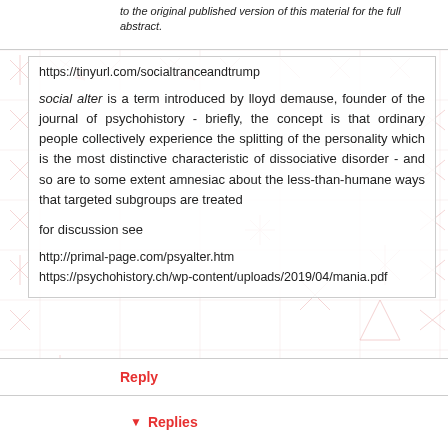to the original published version of this material for the full abstract.
https://tinyurl.com/socialtranceandtrump
social alter is a term introduced by lloyd demause, founder of the journal of psychohistory - briefly, the concept is that ordinary people collectively experience the splitting of the personality which is the most distinctive characteristic of dissociative disorder - and so are to some extent amnesiac about the less-than-humane ways that targeted subgroups are treated
for discussion see
http://primal-page.com/psyalter.htm
https://psychohistory.ch/wp-content/uploads/2019/04/mania.pdf
Reply
Replies